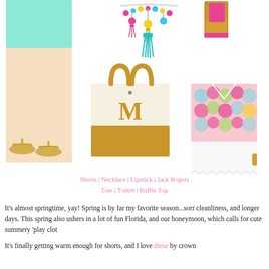[Figure (photo): Fashion collage showing: mint/aqua shorts with gold sandals (left), colorful tassel necklace (center top), pink lipstick (top right), monogram gold tote bag with letter M (center), pink Lilly Pulitzer ruffle top with white scallop shorts (right)]
Shorts | Necklace | Lipstick | Jack Rogers
Tote | T-shirt | Ruffle Top
It's almost springtime, yay! Spring is by far my favorite season...sorr cleanliness, and longer days. This spring also ushers in a lot of fun Florida, and our honeymoon, which calls for cute summery 'play clot
It's finally getting warm enough for shorts, and I love these by crown